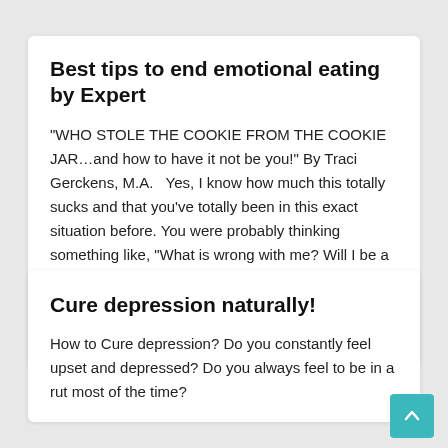Best tips to end emotional eating by Expert
"WHO STOLE THE COOKIE FROM THE COOKIE JAR...and how to have it not be you!" By Traci Gerckens, M.A.   Yes, I know how much this totally sucks and that you've totally been in this exact situation before. You were probably thinking something like, "What is wrong with me? Will I be a complete train [...]
Continue Reading
Cure depression naturally!
How to Cure depression? Do you constantly feel upset and depressed? Do you always feel to be in a rut most of the time?